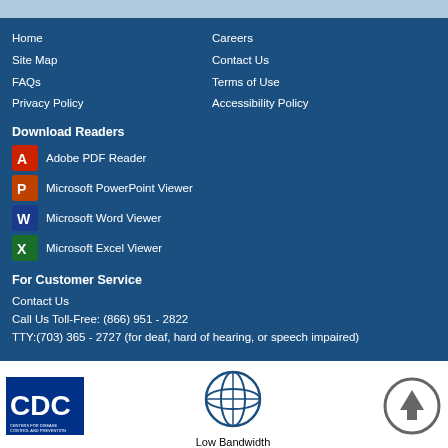Home
Careers
Site Map
Contact Us
FAQs
Terms of Use
Privacy Policy
Accessibility Policy
Download Readers
Adobe PDF Reader
Microsoft PowerPoint Viewer
Microsoft Word Viewer
Microsoft Excel Viewer
For Customer Service
Contact Us
Call Us Toll-Free: (866) 951 - 2822
TTY:(703) 365 - 2727 (for deaf, hard of hearing, or speech impaired)
[Figure (logo): CDC logo - Centers for Disease Control and Prevention]
[Figure (illustration): Globe icon for Low Bandwidth]
Low Bandwidth
[Figure (illustration): Up arrow circle icon]
ATCC. All Rights Reserved.
About Trust Online
View full site